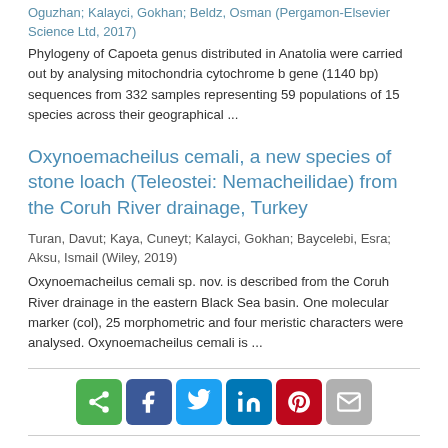Oguzhan; Kalayci, Gokhan; Beldz, Osman (Pergamon-Elsevier Science Ltd, 2017)
Phylogeny of Capoeta genus distributed in Anatolia were carried out by analysing mitochondria cytochrome b gene (1140 bp) sequences from 332 samples representing 59 populations of 15 species across their geographical ...
Oxynoemacheilus cemali, a new species of stone loach (Teleostei: Nemacheilidae) from the Coruh River drainage, Turkey
Turan, Davut; Kaya, Cuneyt; Kalayci, Gokhan; Baycelebi, Esra; Aksu, Ismail (Wiley, 2019)
Oxynoemacheilus cemali sp. nov. is described from the Coruh River drainage in the eastern Black Sea basin. One molecular marker (col), 25 morphometric and four meristic characters were analysed. Oxynoemacheilus cemali is ...
[Figure (infographic): Social sharing buttons: share (green), Facebook (blue), Twitter (light blue), LinkedIn (dark blue), Pinterest (red), email (grey)]